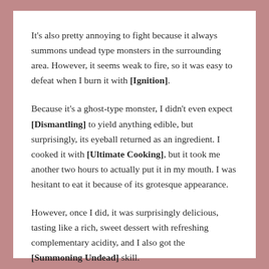It's also pretty annoying to fight because it always summons undead type monsters in the surrounding area. However, it seems weak to fire, so it was easy to defeat when I burn it with [Ignition].
Because it's a ghost-type monster, I didn't even expect [Dismantling] to yield anything edible, but surprisingly, its eyeball returned as an ingredient. I cooked it with [Ultimate Cooking], but it took me another two hours to actually put it in my mouth. I was hesitant to eat it because of its grotesque appearance.
However, once I did, it was surprisingly delicious, tasting like a rich, sweet dessert with refreshing complementary acidity, and I also got the [Summoning Undead] skill.